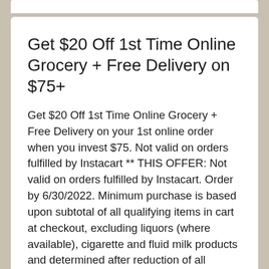Get $20 Off 1st Time Online Grocery + Free Delivery on $75+
Get $20 Off 1st Time Online Grocery + Free Delivery on your 1st online order when you invest $75. Not valid on orders fulfilled by Instacart ** THIS OFFER: Not valid on orders fulfilled by Instacart. Order by 6/30/2022. Minimum purchase is based upon subtotal of all qualifying items in cart at checkout, excluding liquors (where available), cigarette and fluid milk products and determined after reduction of all various other fees and discounts, such as any kind of suitable tax obligations, distribution charges, bag charges, container down payments, marketing discounts, vouchers, and financial savings. Valid only for 1ST Time Online Grocery orders Limit 1 per